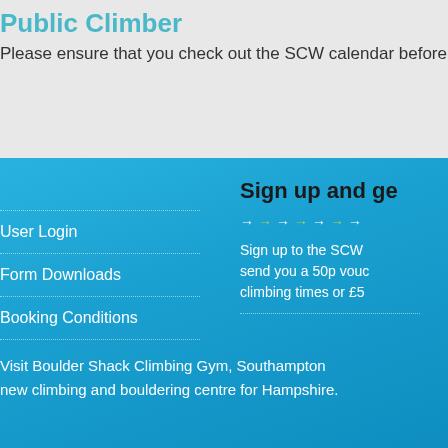Public Climber
Please ensure that you check out the SCW calendar before
User Login
Form Downloads
Booking Conditions
Sign up and ge
→ → → → → →
Sign up to the SCW send you a 50p vouc climbing times or £5
Visit Boulder Shack Climbing Gym, Southampton new climbing and bouldering centre for Hampshire.